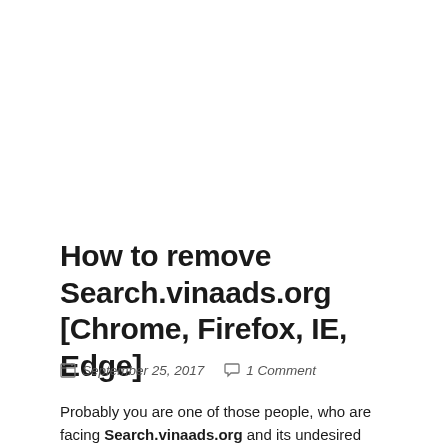How to remove Search.vinaads.org [Chrome, Firefox, IE, Edge]
September 25, 2017   1 Comment
Probably you are one of those people, who are facing Search.vinaads.org and its undesired changes to web-browser